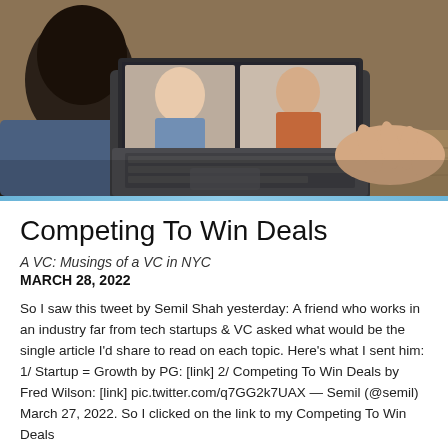[Figure (photo): Person sitting at a wooden table using a Surface Pro laptop in tablet/keyboard mode, with a video call showing two people on the screen. Shot from behind/above the user.]
Competing To Win Deals
A VC: Musings of a VC in NYC
MARCH 28, 2022
So I saw this tweet by Semil Shah yesterday: A friend who works in an industry far from tech startups & VC asked what would be the single article I'd share to read on each topic. Here's what I sent him: 1/ Startup = Growth by PG: [link] 2/ Competing To Win Deals by Fred Wilson: [link] pic.twitter.com/q7GG2k7UAX — Semil (@semil) March 27, 2022. So I clicked on the link to my Competing To Win Deals